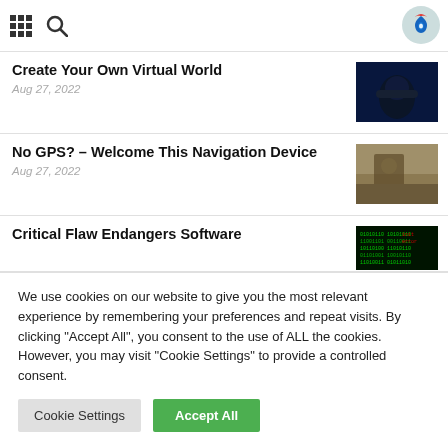Navigation bar with grid menu icon, search icon, and Drupal logo
Create Your Own Virtual World
Aug 27, 2022
[Figure (photo): Person wearing gaming headset silhouetted against a blue screen]
No GPS? – Welcome This Navigation Device
Aug 27, 2022
[Figure (photo): Soldier using a navigation device outdoors]
Critical Flaw Endangers Software
[Figure (photo): Green text code on dark screen suggesting cybersecurity theme]
We use cookies on our website to give you the most relevant experience by remembering your preferences and repeat visits. By clicking "Accept All", you consent to the use of ALL the cookies. However, you may visit "Cookie Settings" to provide a controlled consent.
Cookie Settings  Accept All